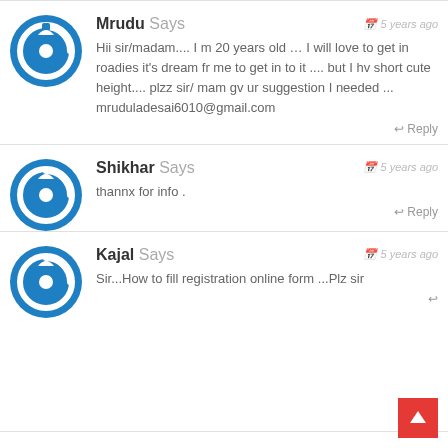Mrudu Says — 5 years ago
Hii sir/madam.... I m 20 years old ... I will love to get in roadies it's dream fr me to get in to it .... but I hv short cute height.... plzz sir/ mam gv ur suggestion I needed ...
mruduladesai6010@gmail.com
Shikhar Says — 5 years ago
thannx for info .
Kajal Says — 5 years ago
Sir...How to fill registration online form ...Plz sir